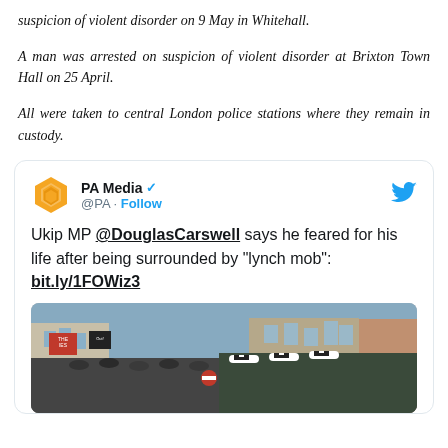suspicion of violent disorder on 9 May in Whitehall.
A man was arrested on suspicion of violent disorder at Brixton Town Hall on 25 April.
All were taken to central London police stations where they remain in custody.
[Figure (screenshot): Embedded tweet from PA Media (@PA) with blue verified checkmark and Follow button. Tweet text: 'Ukip MP @DouglasCarswell says he feared for his life after being surrounded by "lynch mob": bit.ly/1FOWiz3'. Below the tweet text is a photograph of a street protest scene in London with police officers in checkered caps and protesters with placards.]